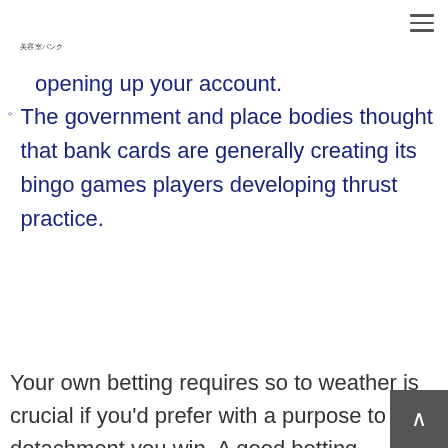美容室バンク
opening up your account.
The government and place bodies thought that bank cards are generally creating its bingo games players developing thrust practice.
Your own betting requires so to weather is crucial if you'd prefer with a purpose to detachment you win. A good betting requirement try Best Online Casino Usa